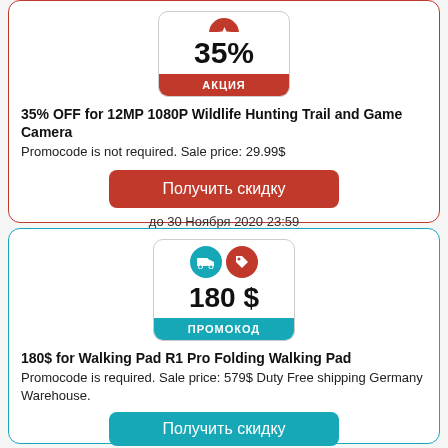[Figure (infographic): Red badge showing 35% discount with АКЦИЯ label]
35% OFF for 12MP 1080P Wildlife Hunting Trail and Game Camera
Promocode is not required. Sale price: 29.99$
Получить скидку
до 30 Ноября 2020 23:59
[Figure (infographic): Teal badge showing 180 $ promo with ПРОМОКОД label and free shipping icon]
180$ for Walking Pad R1 Pro Folding Walking Pad
Promocode is required. Sale price: 579$ Duty Free shipping Germany Warehouse.